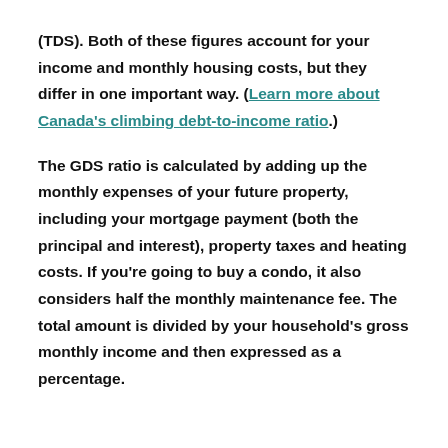(TDS). Both of these figures account for your income and monthly housing costs, but they differ in one important way. (Learn more about Canada's climbing debt-to-income ratio.)
The GDS ratio is calculated by adding up the monthly expenses of your future property, including your mortgage payment (both the principal and interest), property taxes and heating costs. If you're going to buy a condo, it also considers half the monthly maintenance fee. The total amount is divided by your household's gross monthly income and then expressed as a percentage.